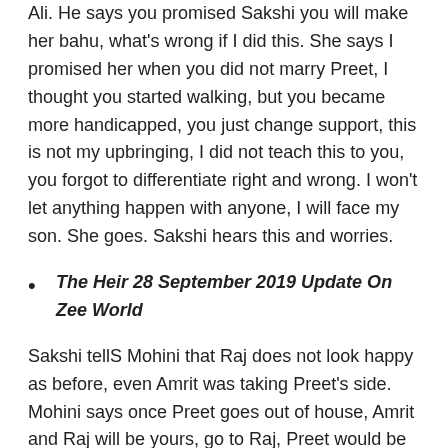Ali. He says you promised Sakshi you will make her bahu, what's wrong if I did this. She says I promised her when you did not marry Preet, I thought you started walking, but you became more handicapped, you just change support, this is not my upbringing, I did not teach this to you, you forgot to differentiate right and wrong. I won't let anything happen with anyone, I will face my son. She goes. Sakshi hears this and worries.
The Heir 28 September 2019 Update On Zee World
Sakshi tellS Mohini that Raj does not look happy as before, even Amrit was taking Preet's side. Mohini says once Preet goes out of house, Amrit and Raj will be yours, go to Raj, Preet would be coming too. Sakshi